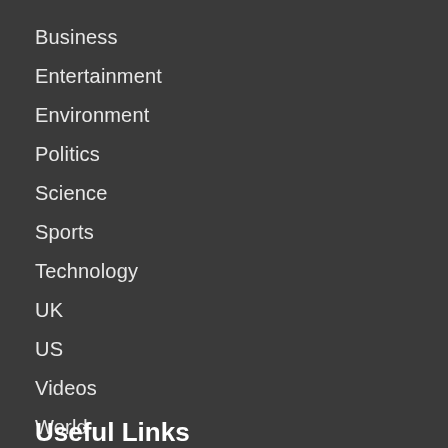Business
Entertainment
Environment
Politics
Science
Sports
Technology
UK
US
Videos
World
Useful Links